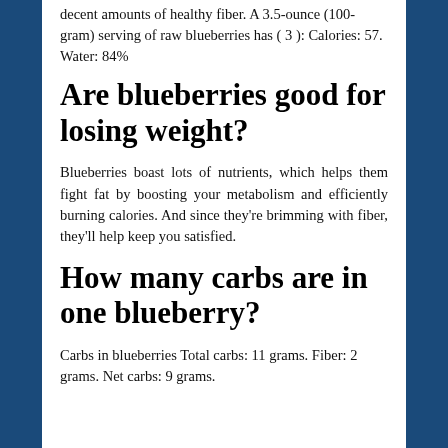decent amounts of healthy fiber. A 3.5-ounce (100-gram) serving of raw blueberries has ( 3 ): Calories: 57. Water: 84%
Are blueberries good for losing weight?
Blueberries boast lots of nutrients, which helps them fight fat by boosting your metabolism and efficiently burning calories. And since they're brimming with fiber, they'll help keep you satisfied.
How many carbs are in one blueberry?
Carbs in blueberries Total carbs: 11 grams. Fiber: 2 grams. Net carbs: 9 grams.